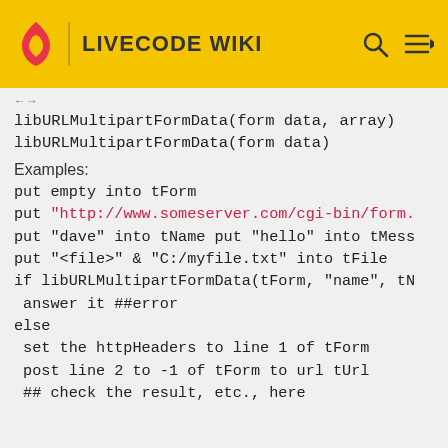LIVECODE WIKI
libURLMultipartFormData(form data, array)
libURLMultipartFormData(form data)
Examples:
put empty into tForm
put "http://www.someserver.com/cgi-bin/form."
put "dave" into tName put "hello" into tMess
put "<file>" & "C:/myfile.txt" into tFile
if libURLMultipartFormData(tForm, "name", tN
 answer it ##error
else
 set the httpHeaders to line 1 of tForm
 post line 2 to -1 of tForm to url tUrl
 ## check the result, etc., here